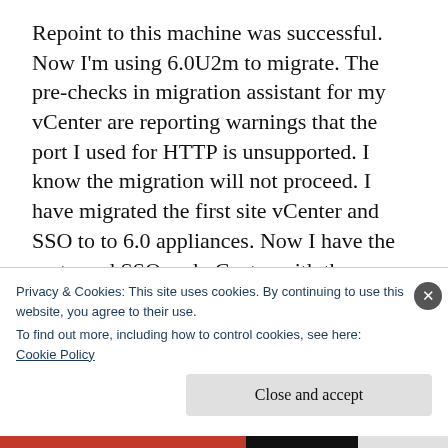Repoint to this machine was successful. Now I'm using 6.0U2m to migrate. The pre-checks in migration assistant for my vCenter are reporting warnings that the port I used for HTTP is unsupported. I know the migration will not proceed. I have migrated the first site vCenter and SSO to to 6.0 appliances. Now I have the partnered SSO and vCenter with the custom port unable to migrate. How to change the ports on these windows machines? When I change the http port to 80 in the registry for
Privacy & Cookies: This site uses cookies. By continuing to use this website, you agree to their use.
To find out more, including how to control cookies, see here:
Cookie Policy